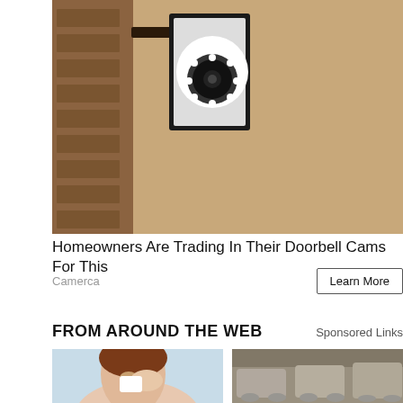[Figure (photo): A security camera mounted on a wall lantern bracket outside a building with textured stucco wall.]
Homeowners Are Trading In Their Doorbell Cams For This
Camerca   Learn More
FROM AROUND THE WEB
Sponsored Links
[Figure (photo): A woman applying eye drops or touching her eye area.]
[Figure (photo): Several vehicles covered with dust/tarps parked in a warehouse or storage facility.]